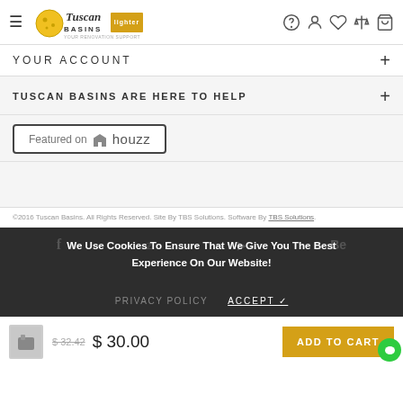Tuscan Basins — Navigation header with logo, icons
YOUR ACCOUNT
TUSCAN BASINS ARE HERE TO HELP
[Figure (logo): Featured on Houzz badge]
©2016 Tuscan Basins. All Rights Reserved. Site By TBS Solutions. Software By TBS Solutions.
We Use Cookies To Ensure That We Give You The Best Experience On Our Website!
PRIVACY POLICY   ACCEPT ✓
$ 32.42  $ 30.00   ADD TO CART